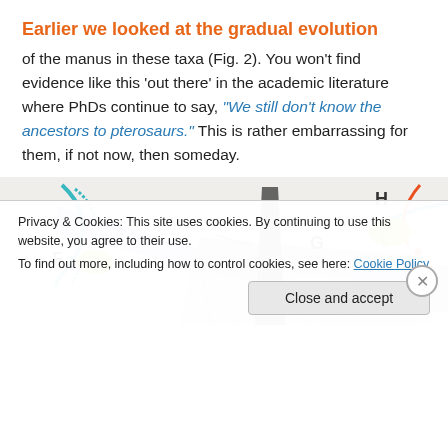Earlier we looked at the gradual evolution
of the manus in these taxa (Fig. 2). You won't find evidence like this 'out there' in the academic literature where PhDs continue to say, “We still don’t know the ancestors to pterosaurs.” This is rather embarrassing for them, if not now, then someday.
[Figure (illustration): Scientific illustration showing labeled skeletal/anatomical diagrams of pterosaur-related taxa, labeled F, G, and H, with colored overlays indicating different anatomical structures including purple, teal, yellow, and red markings on a white/gray background.]
Privacy & Cookies: This site uses cookies. By continuing to use this website, you agree to their use.
To find out more, including how to control cookies, see here: Cookie Policy